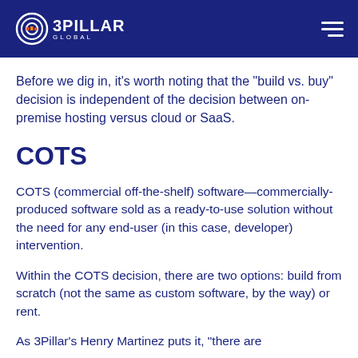3PILLAR GLOBAL
Before we dig in, it’s worth noting that the “build vs. buy” decision is independent of the decision between on-premise hosting versus cloud or SaaS.
COTS
COTS (commercial off-the-shelf) software—commercially-produced software sold as a ready-to-use solution without the need for any end-user (in this case, developer) intervention.
Within the COTS decision, there are two options: build from scratch (not the same as custom software, by the way) or rent.
As 3Pillar’s Henry Martinez puts it, “there are